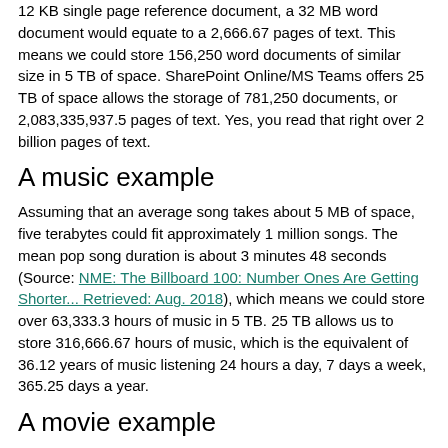12 KB single page reference document, a 32 MB word document would equate to a 2,666.67 pages of text. This means we could store 156,250 word documents of similar size in 5 TB of space. SharePoint Online/MS Teams offers 25 TB of space allows the storage of 781,250 documents, or 2,083,335,937.5 pages of text. Yes, you read that right over 2 billion pages of text.
A music example
Assuming that an average song takes about 5 MB of space, five terabytes could fit approximately 1 million songs. The mean pop song duration is about 3 minutes 48 seconds (Source: NME: The Billboard 100: Number Ones Are Getting Shorter... Retrieved: Aug. 2018), which means we could store over 63,333.3 hours of music in 5 TB. 25 TB allows us to store 316,666.67 hours of music, which is the equivalent of 36.12 years of music listening 24 hours a day, 7 days a week, 365.25 days a year.
A movie example
Assuming the average movie is 1 hour 56 minutes long, 1080p resolution, and stored as a h.264 MPEG4 video file, it would take approximately 5.085 GB of space. You would be able to store about